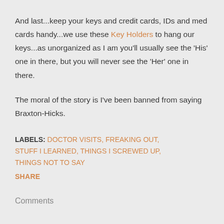And last...keep your keys and credit cards, IDs and med cards handy...we use these Key Holders to hang our keys...as unorganized as I am you'll usually see the 'His' one in there, but you will never see the 'Her' one in there.
The moral of the story is I've been banned from saying Braxton-Hicks.
LABELS: DOCTOR VISITS, FREAKING OUT, STUFF I LEARNED, THINGS I SCREWED UP, THINGS NOT TO SAY
SHARE
Comments